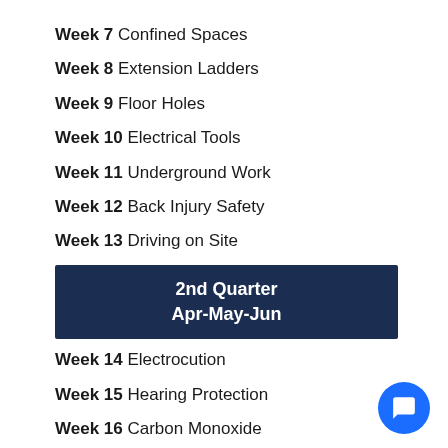Week 7 Confined Spaces
Week 8 Extension Ladders
Week 9 Floor Holes
Week 10 Electrical Tools
Week 11 Underground Work
Week 12 Back Injury Safety
Week 13 Driving on Site
2nd Quarter Apr-May-Jun
Week 14 Electrocution
Week 15 Hearing Protection
Week 16 Carbon Monoxide
Week 17 Heavy Equipment